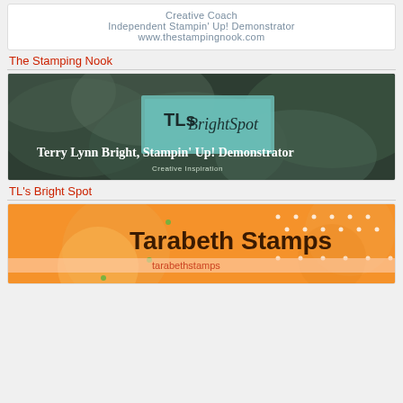[Figure (other): Stamping Nook card with text: Creative Coach, Independent Stampin' Up! Demonstrator, www.thestampingnook.com]
The Stamping Nook
[Figure (photo): TL's Bright Spot banner image featuring succulent plant background with teal logo box reading 'TLs Bright Spot' and text 'Terry Lynn Bright, Stampin' Up! Demonstrator, Creative Inspiration']
TL's Bright Spot
[Figure (other): Tarabeth Stamps banner with orange background, large text 'Tarabeth Stamps' and subtitle 'tarabethstamps']